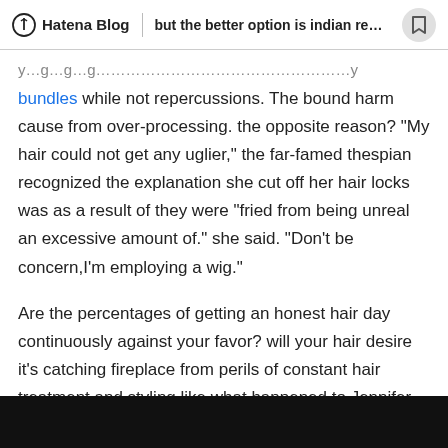Hatena Blog | but the better option is indian remy...
bundles while not repercussions. The bound harm cause from over-processing. the opposite reason? "My hair could not get any uglier," the far-famed thespian recognized the explanation she cut off her hair locks was as a result of they were "fried from being unreal an excessive amount of." she said. "Don't be concern,I'm employing a wig."
Are the percentages of getting an honest hair day continuously against your favor? will your hair desire it's catching fireplace from perils of constant hair treatment and styling like what happened to Jennifer Lawrence?